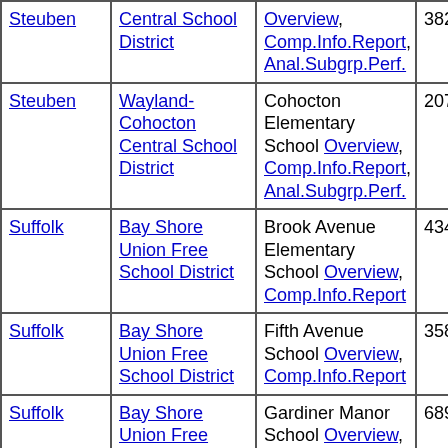| County | District | School | Enrollment | Pct | Col6 |
| --- | --- | --- | --- | --- | --- |
| Steuben | Central School District | Overview, Comp.Info.Report, Anal.Subgrp.Perf. | 382 | 0.0% | 25 |
| Steuben | Wayland-Cohocton Central School District | Cohocton Elementary School Overview, Comp.Info.Report, Anal.Subgrp.Perf. | 207 | 0.0% | 23 |
| Suffolk | Bay Shore Union Free School District | Brook Avenue Elementary School Overview, Comp.Info.Report | 434 | 12.9% | 22 |
| Suffolk | Bay Shore Union Free School District | Fifth Avenue School Overview, Comp.Info.Report | 358 | 5.0% | 26 |
| Suffolk | Bay Shore Union Free School District | Gardiner Manor School Overview, Comp.Info.Report, Anal.Subgrp.Perf. | 689 | 0.3% | 28 |
| Suffolk | Bay Shore Union Free School District | Mary G. Clarkson School Overview, Comp.Info.Report | 513 | 5.3% | 25 |
|  | Bay Shore | South Country |  |  |  |